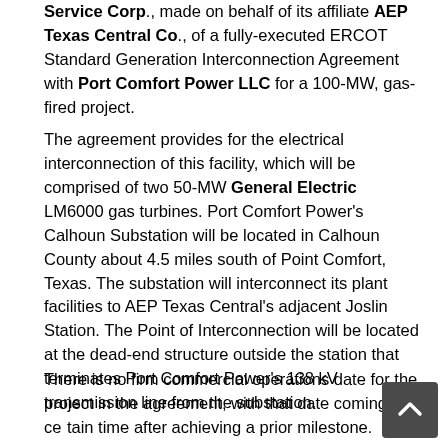Service Corp., made on behalf of its affiliate AEP Texas Central Co., of a fully-executed ERCOT Standard Generation Interconnection Agreement with Port Comfort Power LLC for a 100-MW, gas-fired project.
The agreement provides for the electrical interconnection of this facility, which will be comprised of two 50-MW General Electric LM6000 gas turbines. Port Comfort Power's Calhoun Substation will be located in Calhoun County about 4.5 miles south of Point Comfort, Texas. The substation will interconnect its plant facilities to AEP Texas Central's adjacent Joslin Station. The Point of Interconnection will be located at the dead-end structure outside the station that terminates Port Comfort Power's 138 kV transmission line from the substation.
There is no firm commercial operations date for the project in the agreement, with that date coming a certain time after achieving a prior milestone.